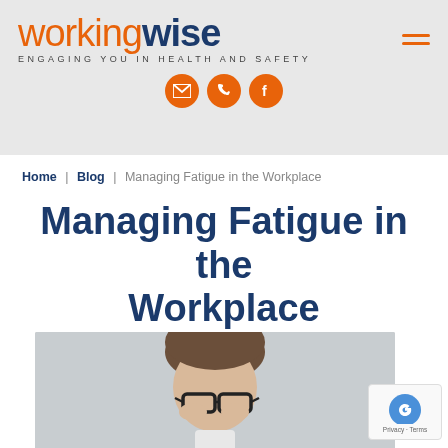working wise — ENGAGING YOU IN HEALTH AND SAFETY
Home | Blog | Managing Fatigue in the Workplace
Managing Fatigue in the Workplace
[Figure (photo): Person rubbing their eyes with glasses pushed down, appearing fatigued, grey background]